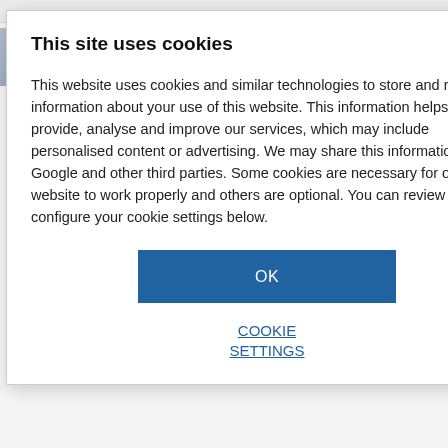[Figure (screenshot): Partially visible news article page in background, showing headline fragments about Afghan scientific expertise scattered and Taliban takeover, with a thumbnail image at top left.]
This site uses cookies
This website uses cookies and similar technologies to store and retrieve information about your use of this website. This information helps us to provide, analyse and improve our services, which may include personalised content or advertising. We may share this information with Google and other third parties. Some cookies are necessary for our website to work properly and others are optional. You can review and configure your cookie settings below.
OK
COOKIE SETTINGS